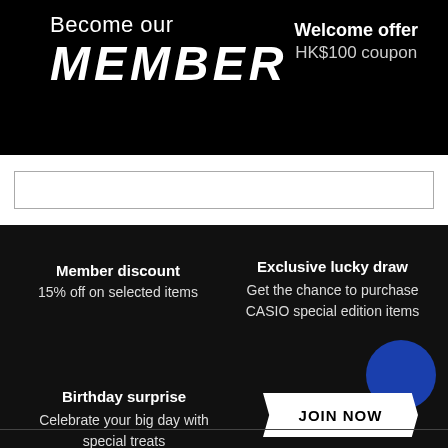Become our MEMBER
Welcome offer
HK$100 coupon
Member discount
15% off on selected items
Exclusive lucky draw
Get the chance to purchase CASIO special edition items
[Figure (other): Blue circular decorative element]
Birthday surprise
Celebrate your big day with special treats
JOIN NOW